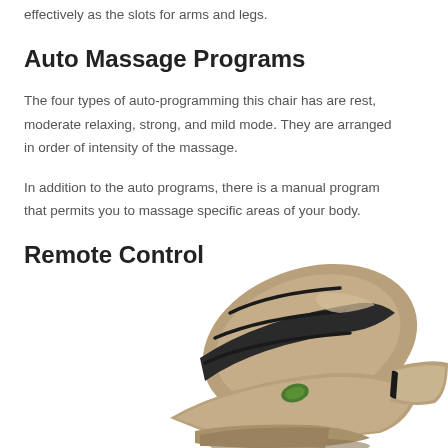effectively as the slots for arms and legs.
Auto Massage Programs
The four types of auto-programming this chair has are rest, moderate relaxing, strong, and mild mode. They are arranged in order of intensity of the massage.
In addition to the auto programs, there is a manual program that permits you to massage specific areas of your body.
Remote Control
[Figure (photo): A massage chair shown in tan/brown leather with black accents, viewed from the side/front angle, partially visible at the bottom of the page.]